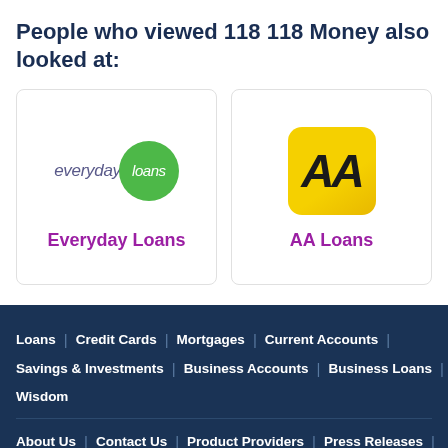People who viewed 118 118 Money also looked at:
[Figure (logo): Everyday Loans logo: 'everyday' in purple italic text next to a green circle with 'loans' in white italic text]
Everyday Loans
[Figure (logo): AA Loans logo: yellow rounded square badge with bold italic 'AA' in black]
AA Loans
Loans | Credit Cards | Mortgages | Current Accounts | Savings & Investments | Business Accounts | Business Loans | Wisdom | About Us | Contact Us | Product Providers | Press Releases